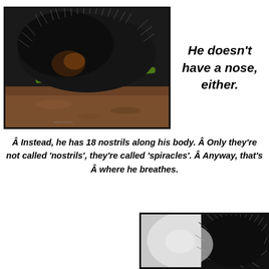[Figure (photo): Close-up macro photo of a black hairy caterpillar with spines/bristles, chewing on a green plant stem, resting on textured brown bark/wood]
He doesn't have a nose, either.
Â Instead, he has 18 nostrils along his body. Â Only they're not called 'nostrils', they're called 'spiracles'. Â Anyway, that's Â where he breathes.
[Figure (photo): Close-up photo of a caterpillar with dark spines/bristles against a blurred background]